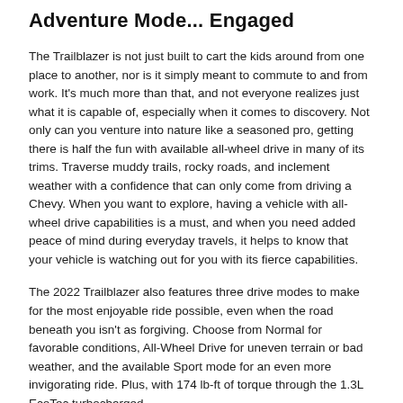Adventure Mode... Engaged
The Trailblazer is not just built to cart the kids around from one place to another, nor is it simply meant to commute to and from work. It's much more than that, and not everyone realizes just what it is capable of, especially when it comes to discovery. Not only can you venture into nature like a seasoned pro, getting there is half the fun with available all-wheel drive in many of its trims. Traverse muddy trails, rocky roads, and inclement weather with a confidence that can only come from driving a Chevy. When you want to explore, having a vehicle with all-wheel drive capabilities is a must, and when you need added peace of mind during everyday travels, it helps to know that your vehicle is watching out for you with its fierce capabilities.
The 2022 Trailblazer also features three drive modes to make for the most enjoyable ride possible, even when the road beneath you isn't as forgiving. Choose from Normal for favorable conditions, All-Wheel Drive for uneven terrain or bad weather, and the available Sport mode for an even more invigorating ride. Plus, with 174 lb-ft of torque through the 1.3L EcoTec turbocharged